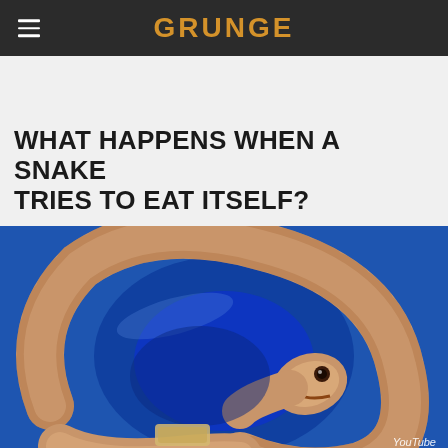GRUNGE
WHAT HAPPENS WHEN A SNAKE TRIES TO EAT ITSELF?
[Figure (photo): A pale orange and white patterned snake coiled in a blue bowl, with its head turned toward its own tail, appearing to attempt eating itself. YouTube watermark in bottom right corner.]